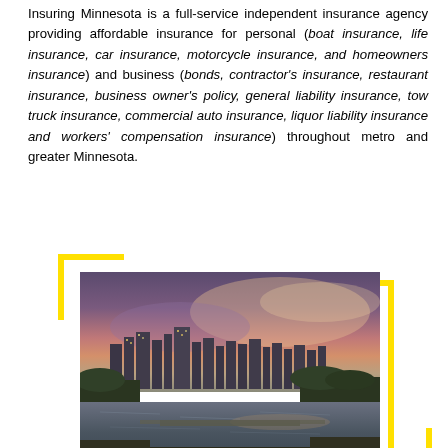Insuring Minnesota is a full-service independent insurance agency providing affordable insurance for personal (boat insurance, life insurance, car insurance, motorcycle insurance, and homeowners insurance) and business (bonds, contractor's insurance, restaurant insurance, business owner's policy, general liability insurance, tow truck insurance, commercial auto insurance, liquor liability insurance and workers' compensation insurance) throughout metro and greater Minnesota.
[Figure (photo): Aerial cityscape photo of Minneapolis/Minnesota city skyline at sunset with a river (Mississippi River) in the foreground, surrounded by yellow decorative bracket corners]